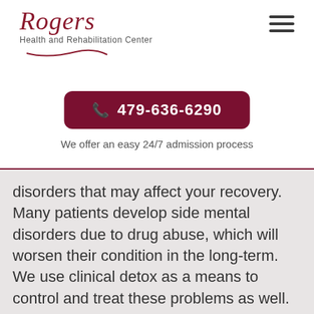[Figure (logo): Rogers Health and Rehabilitation Center logo with italic cursive text and swirl underline]
[Figure (other): Hamburger menu icon (three horizontal lines)]
📞 479-636-6290
We offer an easy 24/7 admission process
disorders that may affect your recovery. Many patients develop side mental disorders due to drug abuse, which will worsen their condition in the long-term. We use clinical detox as a means to control and treat these problems as well.
The 12-Step Recovery Program – This is the